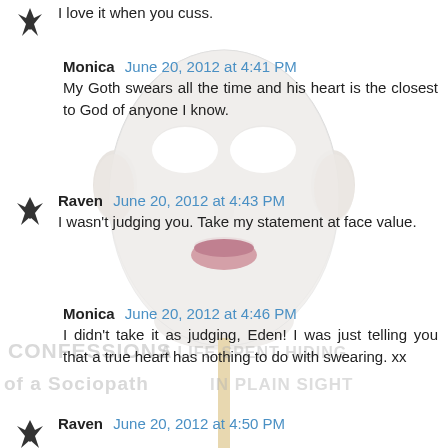[Figure (illustration): A white theatrical mask on a stick with pale lips, overlaid on a white background. Background also shows faint handwritten watermark text reading 'CONFESSIONS OF A SOCIOPATH' and 'A LIFE SPENT HIDING IN PLAIN SIGHT'.]
I love it when you cuss.
Monica  June 20, 2012 at 4:41 PM
My Goth swears all the time and his heart is the closest to God of anyone I know.
Raven  June 20, 2012 at 4:43 PM
I wasn't judging you. Take my statement at face value.
Monica  June 20, 2012 at 4:46 PM
I didn't take it as judging, Eden! I was just telling you that a true heart has nothing to do with swearing. xx
Raven  June 20, 2012 at 4:50 PM